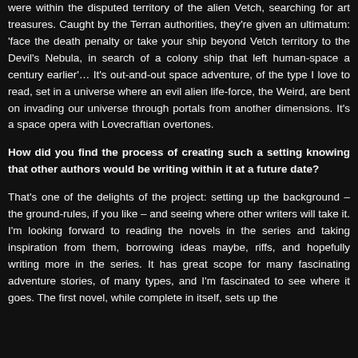were within the disputed territory of the alien Vetch, searching for art treasures. Caught by the Terran authorities, they're given an ultimatum: 'face the death penalty or take your ship beyond Vetch territory to the Devil's Nebula, in search of a colony ship that left human-space a century earlier'… It's out-and-out space adventure, of the type I love to read, set in a universe where an evil alien life-force, the Weird, are bent on invading our universe through portals from another dimensions. It's a space opera with Lovecraftian overtones.
How did you find the process of creating such a setting knowing that other authors would be writing within it at a future date?
That's one of the delights of the project: setting up the background – the ground-rules, if you like – and seeing where other writers will take it. I'm looking forward to reading the novels in the series and taking inspiration from them, borrowing ideas maybe, riffs, and hopefully writing more in the series. It has great scope for many fascinating adventure stories, of many types, and I'm fascinated to see where it goes. The first novel, while complete in itself, sets up the